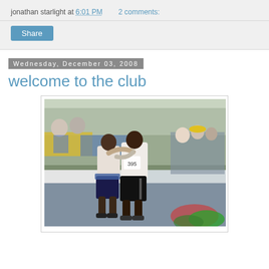jonathan starlight at 6:01 PM   2 comments:
Share
Wednesday, December 03, 2008
welcome to the club
[Figure (photo): Two runners embracing at the finish line of a marathon race, surrounded by spectators and race banners.]